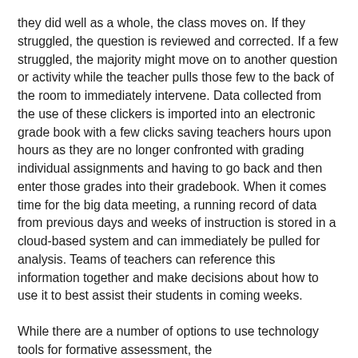they did well as a whole, the class moves on.  If they struggled, the question is reviewed and corrected.  If a few struggled, the majority might move on to another question or activity while the teacher pulls those few to the back of the room to immediately intervene.  Data collected from the use of these clickers is imported into an electronic grade book with a few clicks saving teachers hours upon hours as they are no longer confronted with grading individual assignments and having to go back and then enter those grades into their gradebook.  When it comes time for the big data meeting, a running record of data from previous days and weeks of instruction is stored in a cloud-based system and can immediately be pulled for analysis.  Teams of teachers can reference this information together and make decisions about how to use it to best assist their students in coming weeks.
While there are a number of options to use technology tools for formative assessment, the